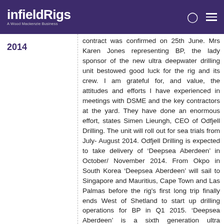infieldRigs – A Wood Mackenzie Business
2014
contract was confirmed on 25th June. Mrs Karen Jones representing BP, the lady sponsor of the new ultra deepwater drilling unit bestowed good luck for the rig and its crew. I am grateful for, and value, the attitudes and efforts I have experienced in meetings with DSME and the key contractors at the yard. They have done an enormous effort, states Simen Lieungh, CEO of Odfjell Drilling. The unit will roll out for sea trials from July- August 2014. Odfjell Drilling is expected to take delivery of 'Deepsea Aberdeen' in October/ November 2014. From Okpo in South Korea 'Deepsea Aberdeen' will sail to Singapore and Mauritius, Cape Town and Las Palmas before the rig's first long trip finally ends West of Shetland to start up drilling operations for BP in Q1 2015. 'Deepsea Aberdeen' is a sixth generation ultra deepwater and harsh environment semisubmersible of enhanced GVA 7500 design. The semisubmersible will perform drilling operations West of Shetland under a seven-year contract with BP.